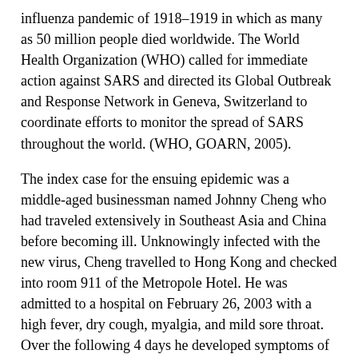influenza pandemic of 1918–1919 in which as many as 50 million people died worldwide. The World Health Organization (WHO) called for immediate action against SARS and directed its Global Outbreak and Response Network in Geneva, Switzerland to coordinate efforts to monitor the spread of SARS throughout the world. (WHO, GOARN, 2005).
The index case for the ensuing epidemic was a middle-aged businessman named Johnny Cheng who had traveled extensively in Southeast Asia and China before becoming ill. Unknowingly infected with the new virus, Cheng travelled to Hong Kong and checked into room 911 of the Metropole Hotel. He was admitted to a hospital on February 26, 2003 with a high fever, dry cough, myalgia, and mild sore throat. Over the following 4 days he developed symptoms of acute respiratory distress syndrome (ARDS) requiring ventilatory support, and severe thrombocytopenia. Despite intensive therapy he died on March 13, 2003 after being transferred to an isolation facility in Hong Kong.
During his short stay at the Metropole, Cheng infected more